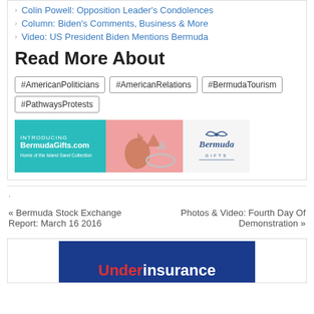Colin Powell: Opposition Leader's Condolences
Column: Biden's Comments, Business & More
Video: US President Biden Mentions Bermuda
Read More About
#AmericanPoliticians
#AmericanRelations
#BermudaTourism
#PathwaysProtests
[Figure (illustration): Advertisement banner for BermudaGifts.com — Home of the Island Sand Collection, featuring teal left panel with text, salmon/pink center panel with jewelry items, and right panel with Bermuda Gifts logo]
.
« Bermuda Stock Exchange Report: March 16 2016
Photos & Video: Fourth Day Of Demonstration »
[Figure (illustration): Bottom advertisement banner showing 'Underinsurance' text on dark blue background]